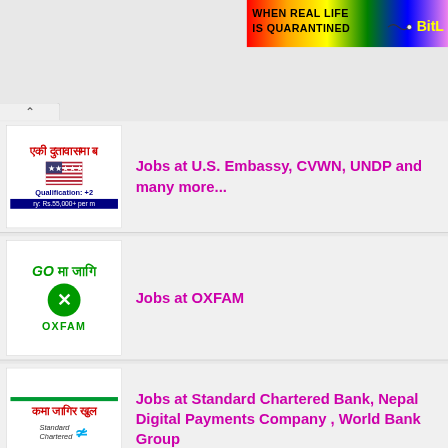[Figure (screenshot): Top banner with rainbow gradient background showing text 'WHEN REAL LIFE IS QUARANTINED' and 'BitL' logo in yellow]
[Figure (screenshot): Thumbnail image for US Embassy jobs listing showing Hindi/Nepali text, US flag emoji, Qualification +2, Salary Rs.55,000+ per month]
Jobs at U.S. Embassy, CVWN, UNDP and many more...
[Figure (screenshot): Thumbnail for OXFAM jobs showing green GO text in Nepali, OXFAM circular logo]
Jobs at OXFAM
[Figure (screenshot): Thumbnail for Standard Chartered Bank jobs showing green bar, Nepali text, Standard Chartered logo with blue S symbol]
Jobs at Standard Chartered Bank, Nepal Digital Payments Company , World Bank Group